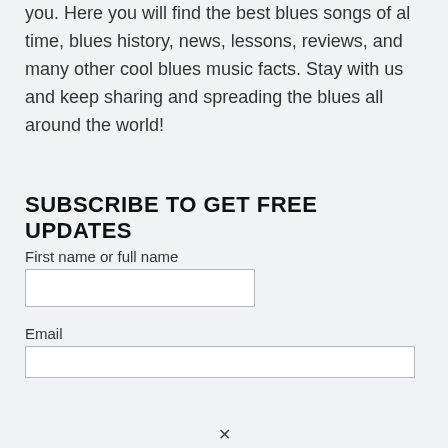you. Here you will find the best blues songs of al time, blues history, news, lessons, reviews, and many other cool blues music facts. Stay with us and keep sharing and spreading the blues all around the world!
SUBSCRIBE TO GET FREE UPDATES
First name or full name
Email